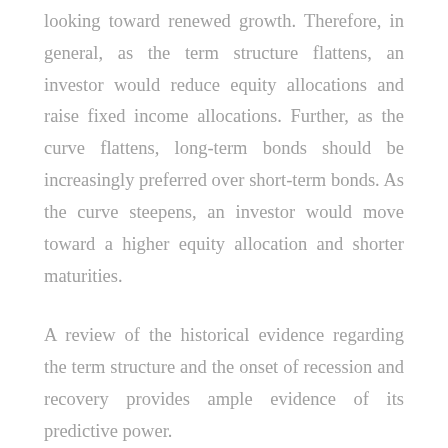looking toward renewed growth. Therefore, in general, as the term structure flattens, an investor would reduce equity allocations and raise fixed income allocations. Further, as the curve flattens, long-term bonds should be increasingly preferred over short-term bonds. As the curve steepens, an investor would move toward a higher equity allocation and shorter maturities.
A review of the historical evidence regarding the term structure and the onset of recession and recovery provides ample evidence of its predictive power.
The traditional method of using the term structure